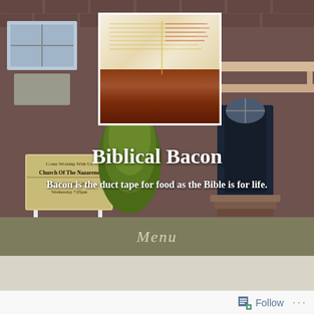[Figure (photo): Hero image of a brick church building exterior with a church sign reading 'Come Worship With Us / Church Of The Nazarene / Sunday 10:30am 4:00pm / Wednesday 7:05pm', evergreen tree in front, and an overlaid inset image showing an open Bible with bacon strips on top. Text overlays say 'Biblical Bacon' and 'Bacon is the duct tape for food as the Bible is for life.']
Menu
Choices
Follow